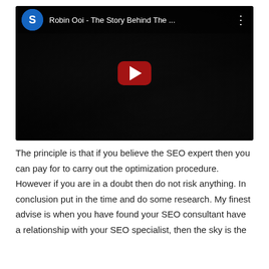[Figure (screenshot): YouTube video thumbnail showing a man in a dark room with the video title 'Robin Ooi - The Story Behind The ...' and a red play button in the center.]
The principle is that if you believe the SEO expert then you can pay for to carry out the optimization procedure. However if you are in a doubt then do not risk anything. In conclusion put in the time and do some research. My finest advise is when you have found your SEO consultant have a relationship with your SEO specialist, then the sky is the